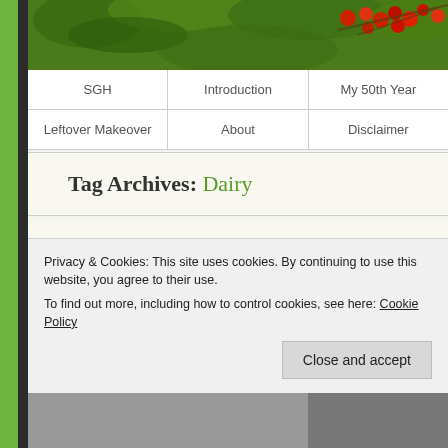[Figure (photo): Top banner photo showing red berries and green leaves on branches]
SGH | Introduction | My 50th Year | Leftover Makeover | About | Disclaimer
Tag Archives: Dairy
RAW MILK TESTIMONIAL
[Figure (photo): Partial bottom image strip]
Privacy & Cookies: This site uses cookies. By continuing to use this website, you agree to their use.
To find out more, including how to control cookies, see here: Cookie Policy
Close and accept